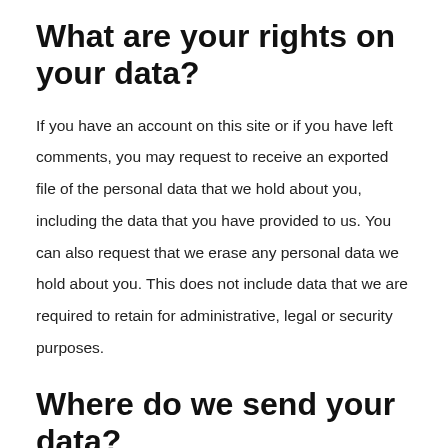What are your rights on your data?
If you have an account on this site or if you have left comments, you may request to receive an exported file of the personal data that we hold about you, including the data that you have provided to us. You can also request that we erase any personal data we hold about you. This does not include data that we are required to retain for administrative, legal or security purposes.
Where do we send your data?
Visitor comments can be verified via an automated